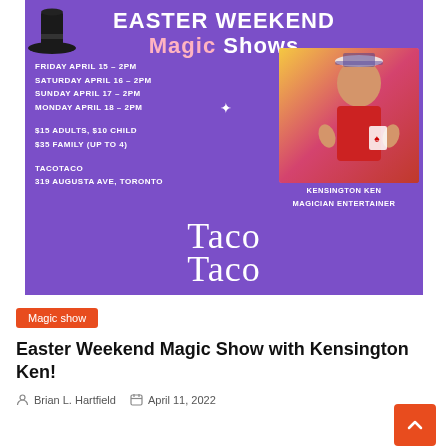[Figure (illustration): Easter Weekend Magic Shows promotional poster on purple background featuring dates, prices, venue, a photo of magician Kensington Ken, and the Taco Taco cursive logo]
Magic show
Easter Weekend Magic Show with Kensington Ken!
Brian L. Hartfield   April 11, 2022